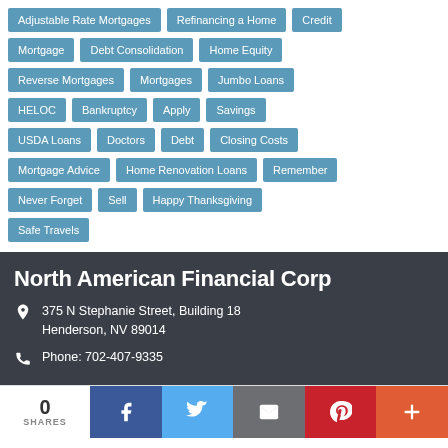Adjustable Rate Mortgages
Refinancing a Home
Credit
Mortgage
Debt Consolidation
Home Equity
Reverse Mortgages
Mortgages
Jumbo Loans
HELOC
Bankruptcy
Apply
Savings
USDA Loans
Doctors
Debt
Closing Costs
Mortgage Advice
Home Renovation Loans
Remember
Never Forget
Sell
Happy Thanksgiving
Safe Travels
North American Financial Corp
375 N Stephanie Street, Building 18
Henderson, NV 89014
Phone: 702-407-9335
0 SHARES